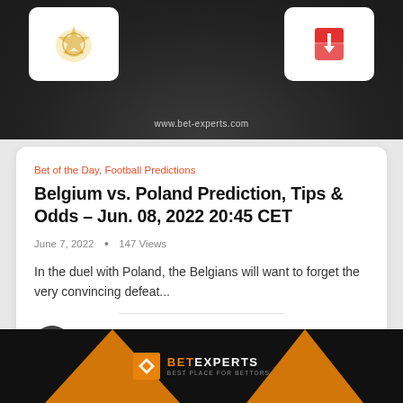[Figure (screenshot): Top banner image showing football field background with two team logo boxes (Belgium and Poland) and website URL www.bet-experts.com]
Bet of the Day, Football Predictions
Belgium vs. Poland Prediction, Tips & Odds – Jun. 08, 2022 20:45 CET
June 7, 2022 • 147 Views
In the duel with Poland, the Belgians will want to forget the very convincing defeat...
MilosNS
[Figure (logo): BetExperts logo banner at bottom with orange triangles on dark background]